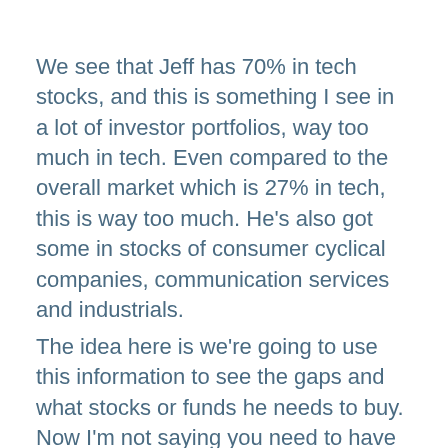We see that Jeff has 70% in tech stocks, and this is something I see in a lot of investor portfolios, way too much in tech. Even compared to the overall market which is 27% in tech, this is way too much. He's also got some in stocks of consumer cyclical companies, communication services and industrials.
The idea here is we're going to use this information to see the gaps and what stocks or funds he needs to buy. Now I'm not saying you need to have stocks from every sector or close to the percentages we see those sectors in the stock market, but having all your money in stocks or all of it in just a few sectors is going to set you up to lose A LOT of money.